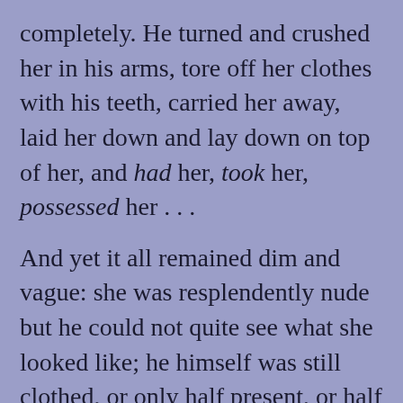completely. He turned and crushed her in his arms, tore off her clothes with his teeth, carried her away, laid her down and lay down on top of her, and had her, took her, possessed her . . .
And yet it all remained dim and vague: she was resplendently nude but he could not quite see what she looked like; he himself was still clothed, or only half present, or half himself; and though she was soft and yielding she remained somehow pristine and inviolate, even in her subjugation.
*
As he made his way back through the Wood he